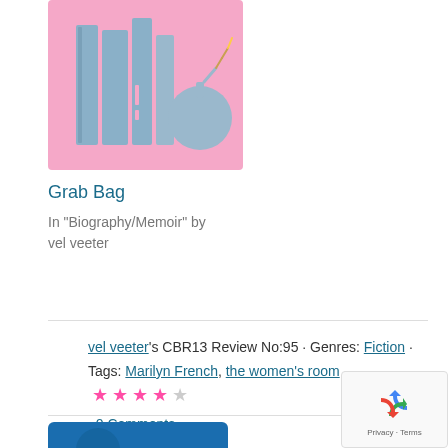[Figure (illustration): Pink background book cover illustration with blue/gray books and a bomb graphic, representing 'Grab Bag' category]
Grab Bag
In "Biography/Memoir" by vel veeter
vel veeter's CBR13 Review No:95 · Genres: Fiction · Tags: Marilyn French, the women's room · ★★★★☆ · 0 Comments
[Figure (logo): Blue logo with white swirl/letter design at bottom of page]
[Figure (other): reCAPTCHA widget with recycle arrow icon and Privacy · Terms text]